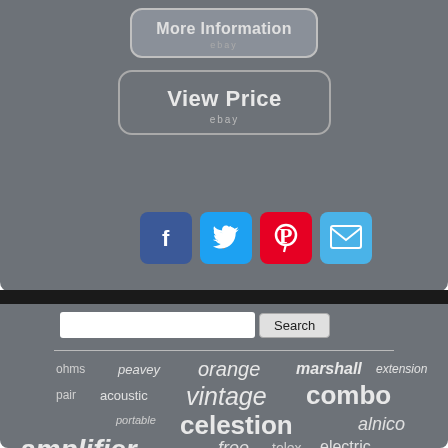[Figure (screenshot): More Information button with eBay branding on gray background]
[Figure (screenshot): View Price button with eBay branding on gray background]
[Figure (infographic): Social sharing buttons: Facebook, Twitter, Pinterest, Email]
[Figure (screenshot): Search bar with Search button]
ohms peavey orange marshall extension pair acoustic vintage combo celestion alnico portable amplifier free tolex electric